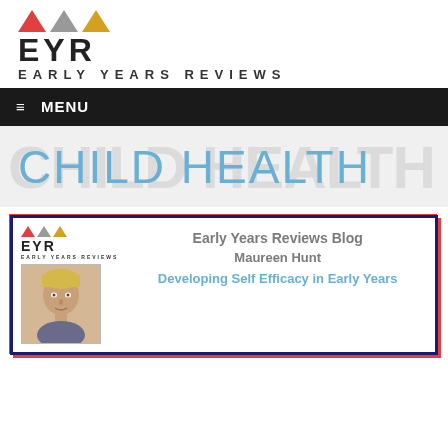[Figure (logo): EYR Early Years Reviews logo with three triangles (red, gray, gold) above bold EYR letters and EARLY YEARS REVIEWS text]
≡ MENU
CHILD HEALTH
[Figure (infographic): Article card with EYR logo, photo of Maureen Hunt, blog title 'Early Years Reviews Blog', author 'Maureen Hunt', and article title 'Developing Self Efficacy in Early Years']